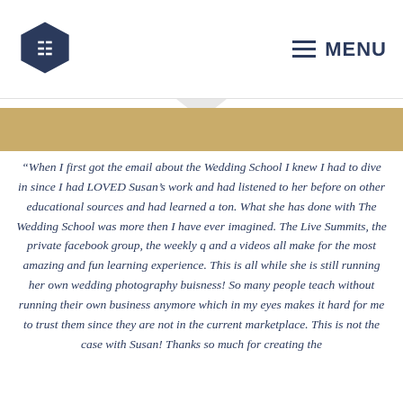MENU
[Figure (illustration): Gold decorative banner with downward chevron pointing down]
“When I first got the email about the Wedding School I knew I had to dive in since I had LOVED Susan’s work and had listened to her before on other educational sources and had learned a ton. What she has done with The Wedding School was more then I have ever imagined. The Live Summits, the private facebook group, the weekly q and a videos all make for the most amazing and fun learning experience. This is all while she is still running her own wedding photography buisness! So many people teach without running their own business anymore which in my eyes makes it hard for me to trust them since they are not in the current marketplace. This is not the case with Susan! Thanks so much for creating the